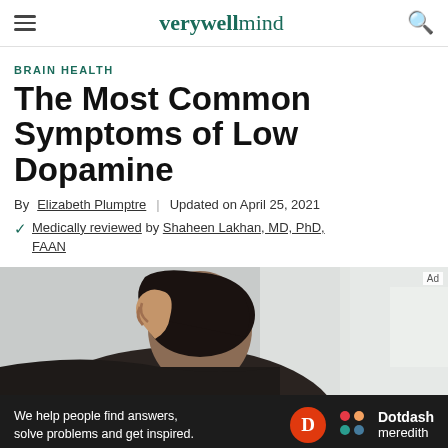verywell mind
BRAIN HEALTH
The Most Common Symptoms of Low Dopamine
By Elizabeth Plumptre | Updated on April 25, 2021
Medically reviewed by Shaheen Lakhan, MD, PhD, FAAN
[Figure (photo): Person holding their head with both hands, appearing distressed, with blurred light background]
We help people find answers, solve problems and get inspired. Dotdash meredith